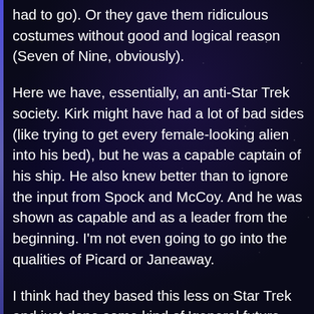had to go). Or they gave them ridiculous costumes without good and logical reason (Seven of Nine, obviously).
Here we have, essentially, an anti-Star Trek society. Kirk might have had a lot of bad sides (like trying to get every female-looking alien into his bed), but he was a capable captain of his ship. He also knew better than to ignore the input from Spock and McCoy. And he was shown as capable and as a leader from the beginning. I'm not even going to go into the qualities of Picard or Janeaway.
I think had they based this less on Star Trek and just done some kind of 'general future society